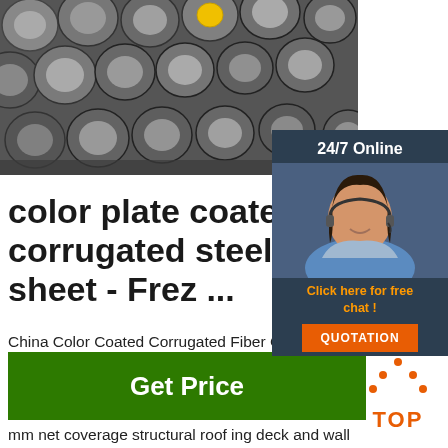[Figure (photo): Photo of steel rods/bars stacked together, viewed from end-on showing circular cross-sections. One rod has a yellow label. Dark industrial setting.]
color plate coated corrugated steel roofing sheet - Frez ...
China Color Coated Corrugated Fiber Ce Roofing Sheet color plate coated corrugated roofing sheet 840 Prepainted Steel Sheet Features:. 840 prepainted steel sheet is mm net coverage structural roofing deck and wall ing cladding.It is roll-formed from …
[Figure (screenshot): Chat widget overlay. Dark navy background. Shows '24/7 Online' header, photo of a smiling woman with headset, text 'Click here for free chat!' in white/orange, and an orange 'QUOTATION' button.]
[Figure (other): Orange 'TOP' button icon with dots forming a caret/house shape above the word TOP in orange bold text.]